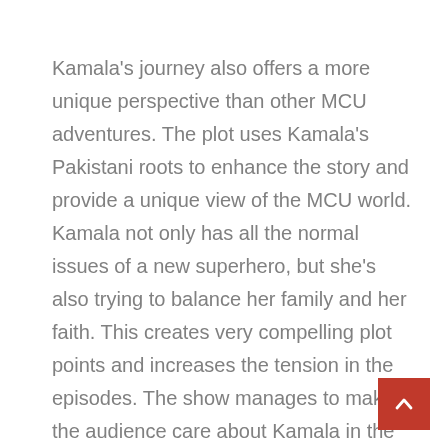Kamala's journey also offers a more unique perspective than other MCU adventures. The plot uses Kamala's Pakistani roots to enhance the story and provide a unique view of the MCU world. Kamala not only has all the normal issues of a new superhero, but she's also trying to balance her family and her faith. This creates very compelling plot points and increases the tension in the episodes. The show manages to make the audience care about Kamala in the first episode and continues to make her a more compelling character every moment.